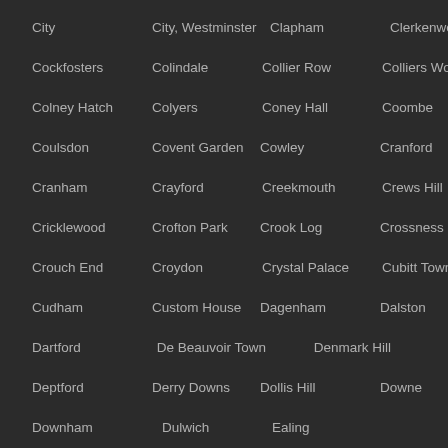City
City, Westminster
Clapham
Clerkenwell
Cockfosters
Colindale
Collier Row
Colliers Wood
Colney Hatch
Colyers
Coney Hall
Coombe
Coulsdon
Covent Garden
Cowley
Cranford
Cranham
Crayford
Creekmouth
Crews Hill
Cricklewood
Crofton Park
Crook Log
Crossness
Crouch End
Croydon
Crystal Palace
Cubitt Town
Cudham
Custom House
Dagenham
Dalston
Dartford
De Beauvoir Town
Denmark Hill
Deptford
Derry Downs
Dollis Hill
Downe
Downham
Dulwich
Ealing